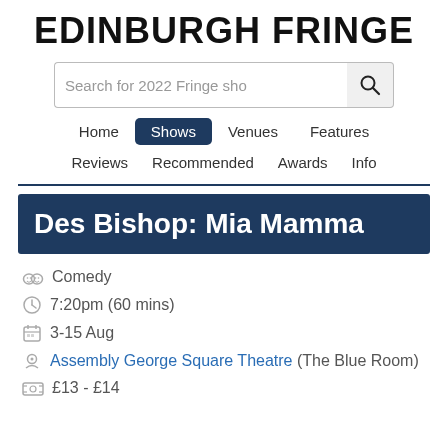EDINBURGH FRINGE
[Figure (screenshot): Search bar with placeholder text 'Search for 2022 Fringe sho' and a search (magnifying glass) button]
Home | Shows | Venues | Features | Reviews | Recommended | Awards | Info
Des Bishop: Mia Mamma
Comedy
7:20pm (60 mins)
3-15 Aug
Assembly George Square Theatre (The Blue Room)
£13 - £14